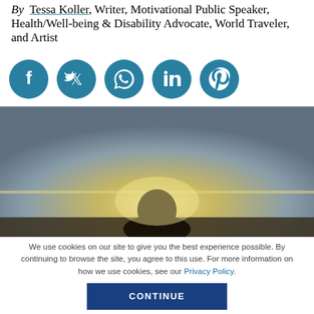By Tessa Koller, Writer, Motivational Public Speaker, Health/Well-being & Disability Advocate, World Traveler, and Artist
[Figure (infographic): Five social media share buttons in teal circles: Facebook, Twitter, WhatsApp, LinkedIn, Pinterest]
[Figure (photo): Silhouette of a person with background glow/sunset — warm golden haze with dark figure in center-bottom]
We use cookies on our site to give you the best experience possible. By continuing to browse the site, you agree to this use. For more information on how we use cookies, see our Privacy Policy.
CONTINUE